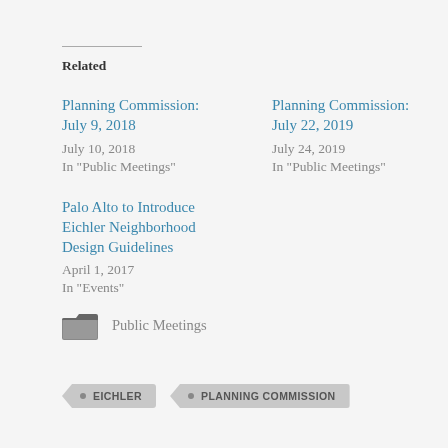Related
Planning Commission: July 9, 2018
July 10, 2018
In "Public Meetings"
Planning Commission: July 22, 2019
July 24, 2019
In "Public Meetings"
Palo Alto to Introduce Eichler Neighborhood Design Guidelines
April 1, 2017
In "Events"
Public Meetings
EICHLER   PLANNING COMMISSION